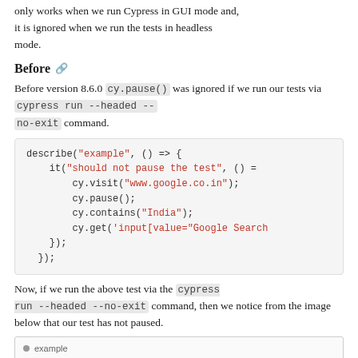only works when we run Cypress in GUI mode and, it is ignored when we run the tests in headless mode.
Before 🔗
Before version 8.6.0 cy.pause() was ignored if we run our tests via cypress run --headed --no-exit command.
[Figure (screenshot): Code block showing a describe/it test using cy.visit, cy.pause, cy.contains, cy.get with Cypress commands]
Now, if we run the above test via the cypress run --headed --no-exit command, then we notice from the image below that our test has not paused.
[Figure (screenshot): Partial screenshot showing 'example' test runner output]